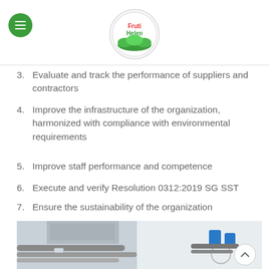Fruti Helen logo and navigation
3. Evaluate and track the performance of suppliers and contractors
4. Improve the infrastructure of the organization, harmonized with compliance with environmental requirements
5. Improve staff performance and competence
6. Execute and verify Resolution 0312:2019 SG SST
7. Ensure the sustainability of the organization
[Figure (photo): Industrial piping and filtration equipment, white machinery with blue fittings and grey pipes]